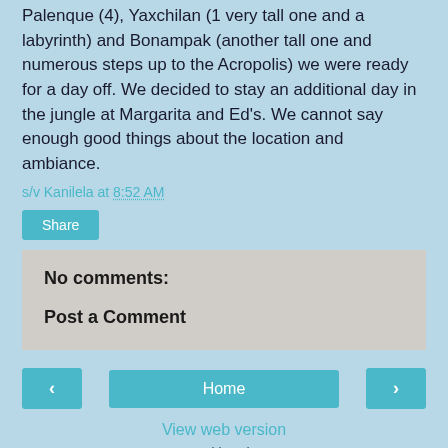Palenque (4), Yaxchilan (1 very tall one and a labyrinth) and Bonampak (another tall one and numerous steps up to the Acropolis) we were ready for a day off. We decided to stay an additional day in the jungle at Margarita and Ed's. We cannot say enough good things about the location and ambiance.
s/v Kanilela at 8:52 AM
Share
No comments:
Post a Comment
Home
View web version
Powered by Blogger.